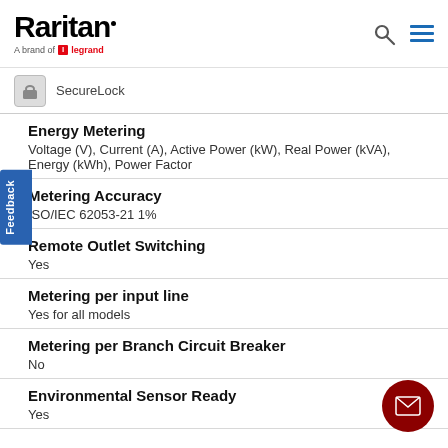Raritan — A brand of legrand
SecureLock
Energy Metering
Voltage (V), Current (A), Active Power (kW), Real Power (kVA), Energy (kWh), Power Factor
Metering Accuracy
ISO/IEC 62053-21 1%
Remote Outlet Switching
Yes
Metering per input line
Yes for all models
Metering per Branch Circuit Breaker
No
Environmental Sensor Ready
Yes